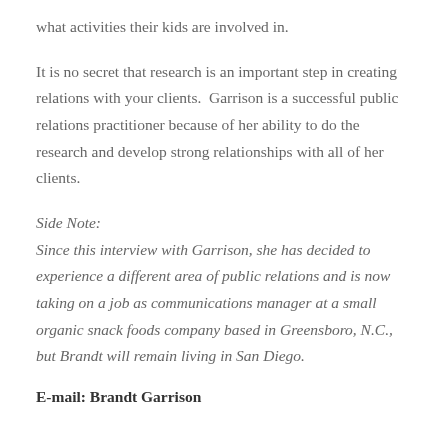what activities their kids are involved in.
It is no secret that research is an important step in creating relations with your clients.  Garrison is a successful public relations practitioner because of her ability to do the research and develop strong relationships with all of her clients.
Side Note:
Since this interview with Garrison, she has decided to experience a different area of public relations and is now taking on a job as communications manager at a small organic snack foods company based in Greensboro, N.C., but Brandt will remain living in San Diego.
E-mail: Brandt Garrison